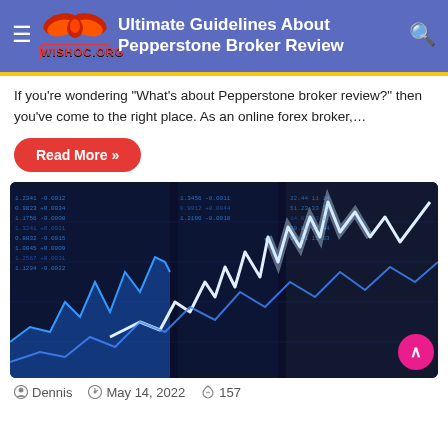Ultimate Guidelines About Pepperstone Broker Review
[Figure (logo): WISHOC.ORG logo with red stylized wings/bow shape above red bold text WISHOC.ORG]
If you're wondering "What's about Pepperstone broker review?" then you've come to the right place. As an online forex broker,…
Read More »
[Figure (photo): Stock market trading screen showing candlestick and line charts with blue and white trading data on dark background]
Dennis  May 14, 2022  157